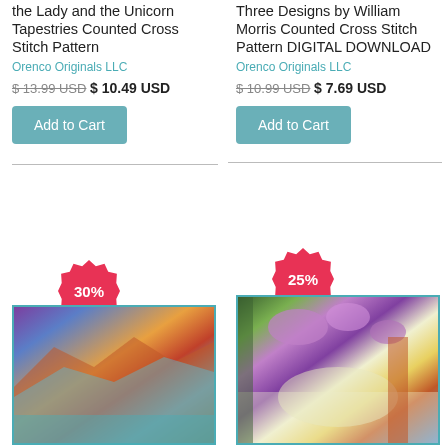the Lady and the Unicorn Tapestries Counted Cross Stitch Pattern
Orenco Originals LLC
$ 13.99 USD  $ 10.49 USD
Add to Cart
Three Designs by William Morris Counted Cross Stitch Pattern DIGITAL DOWNLOAD
Orenco Originals LLC
$ 10.99 USD  $ 7.69 USD
Add to Cart
[Figure (photo): Colorful landscape painting with mountains and water in purple, blue, orange and teal tones. A 30% discount badge overlay.]
[Figure (photo): Stained glass style artwork with wisteria flowers, trees, clouds and water. A 25% discount badge overlay.]